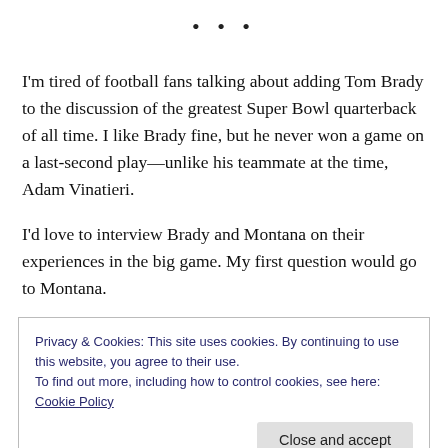• • •
I'm tired of football fans talking about adding Tom Brady to the discussion of the greatest Super Bowl quarterback of all time. I like Brady fine, but he never won a game on a last-second play—unlike his teammate at the time, Adam Vinatieri.
I'd love to interview Brady and Montana on their experiences in the big game. My first question would go to Montana.
Privacy & Cookies: This site uses cookies. By continuing to use this website, you agree to their use.
To find out more, including how to control cookies, see here: Cookie Policy
Close and accept
if you want to add him to the Super Bowl greatest quarterback the...